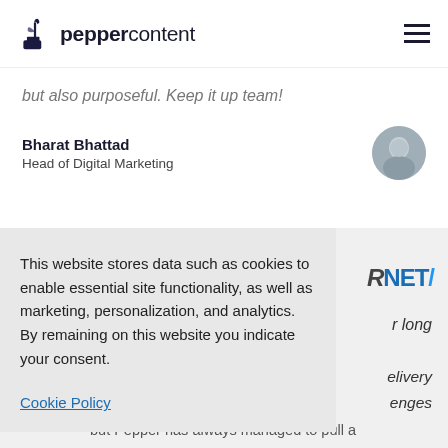peppercontent
but also purposeful. Keep it up team!
Bharat Bhattad
Head of Digital Marketing
[Figure (photo): Circular avatar photo of Bharat Bhattad]
This website stores data such as cookies to enable essential site functionality, as well as marketing, personalization, and analytics. By remaining on this website you indicate your consent.
Cookie Policy
[Figure (logo): RNET logo partially visible on the right side]
r long
elivery
enges
but Pepper has always managed to pull a